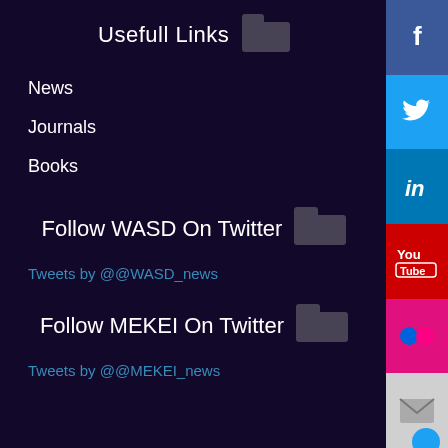Usefull Links
News
Journals
Books
Follow WASD On Twitter
Tweets by @@WASD_news
Follow MEKEI On Twitter
Tweets by @@MEKEI_news
[Figure (infographic): Social media sidebar with Facebook, Twitter, LinkedIn, YouTube, Flickr, and Email buttons on the right edge of the page]